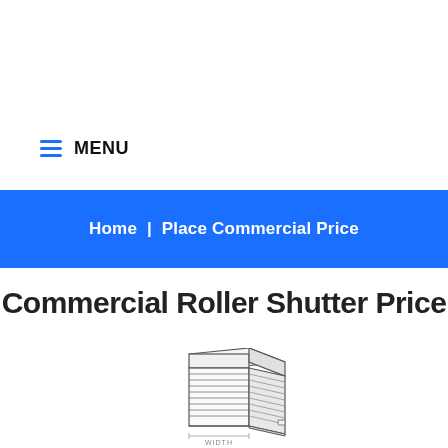≡ MENU
Home | Place Commercial Price
Commercial Roller Shutter Price
[Figure (illustration): Line drawing / schematic of a commercial roller shutter in isometric view, showing slatted curtain, housing box on top, and a WIDTH label at the bottom.]